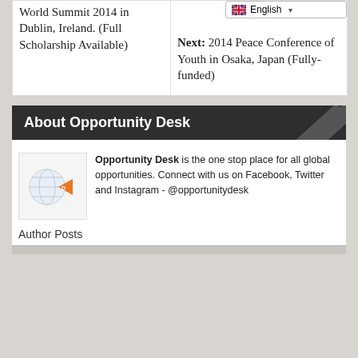World Summit 2014 in Dublin, Ireland. (Full Scholarship Available)
[Figure (screenshot): Language selector showing English with UK flag]
Next: 2014 Peace Conference of Youth in Osaka, Japan (Fully-funded)
About Opportunity Desk
[Figure (logo): Opportunity Desk logo with globe and orange arrow]
Opportunity Desk is the one stop place for all global opportunities. Connect with us on Facebook, Twitter and Instagram - @opportunitydesk
Author Posts